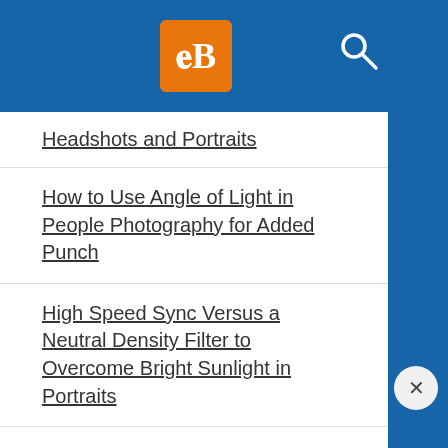dPS [logo] [search icon]
Headshots and Portraits
How to Use Angle of Light in People Photography for Added Punch
High Speed Sync Versus a Neutral Density Filter to Overcome Bright Sunlight in Portraits
5 Creative Portrait Lighting Tricks Using Only Phone Light
How to Use Off-camera Flash to Fix Lighting Problems for Outdoor Portraits
How to Create Awesome Portrait Lighting with a Paper Bag an Elastic Band and a Chocolate